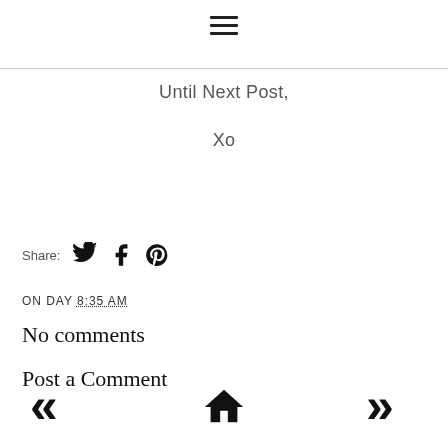[Figure (other): Hamburger menu icon (three horizontal lines)]
Until Next Post,
Xo
Share: [Twitter icon] [Facebook icon] [Pinterest icon]
ON DAY 8:35 AM
No comments
Post a Comment
[Figure (other): Navigation footer with left double-arrow, home icon, right double-arrow]